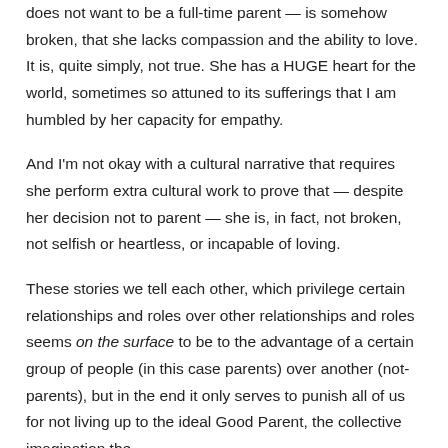does not want to be a full-time parent — is somehow broken, that she lacks compassion and the ability to love. It is, quite simply, not true. She has a HUGE heart for the world, sometimes so attuned to its sufferings that I am humbled by her capacity for empathy.
And I'm not okay with a cultural narrative that requires she perform extra cultural work to prove that — despite her decision not to parent — she is, in fact, not broken, not selfish or heartless, or incapable of loving.
These stories we tell each other, which privilege certain relationships and roles over other relationships and roles seems on the surface to be to the advantage of a certain group of people (in this case parents) over another (not-parents), but in the end it only serves to punish all of us for not living up to the ideal Good Parent, the collective imagination the